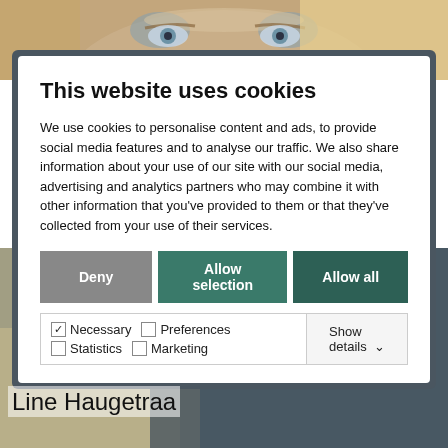[Figure (photo): Background photo of a blonde woman's face and upper body, partially obscured by a cookie consent modal overlay.]
This website uses cookies
We use cookies to personalise content and ads, to provide social media features and to analyse our traffic. We also share information about your use of our site with our social media, advertising and analytics partners who may combine it with other information that you've provided to them or that they've collected from your use of their services.
Deny | Allow selection | Allow all
Necessary  Preferences  Statistics  Marketing  Show details
Line Haugetraa